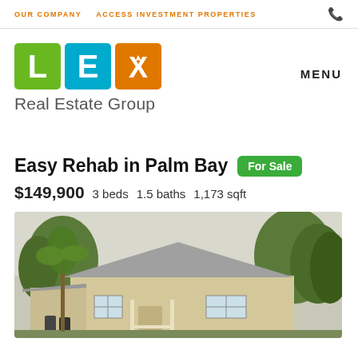OUR COMPANY   ACCESS INVESTMENT PROPERTIES   📞
[Figure (logo): LEX Real Estate Group logo with three colored squares (green L, blue E, orange X) and tagline 'Real Estate Group']
MENU
Easy Rehab in Palm Bay  For Sale
$149,900   3 beds   1.5 baths   1,173 sqft
[Figure (photo): Exterior photo of a single-story beige house with a covered front porch, white railings, attached carport with trash cans, palm trees and green foliage in background, overcast sky]